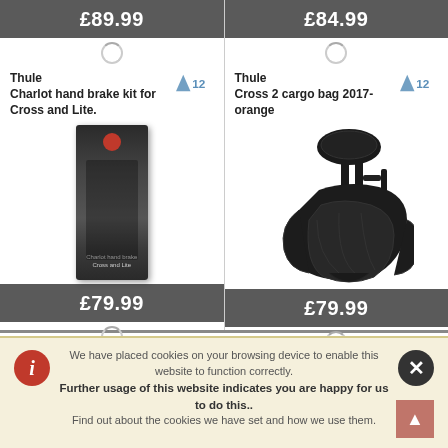£89.99
£84.99
Thule
Charlot hand brake kit for Cross and Lite.
[Figure (photo): Product box for Thule Charlot hand brake kit]
Thule
Cross 2 cargo bag 2017-orange
[Figure (photo): Black cargo bag / child seat attachment for Thule Cross 2]
£79.99
£79.99
We have placed cookies on your browsing device to enable this website to function correctly.
Further usage of this website indicates you are happy for us to do this..
Find out about the cookies we have set and how we use them.